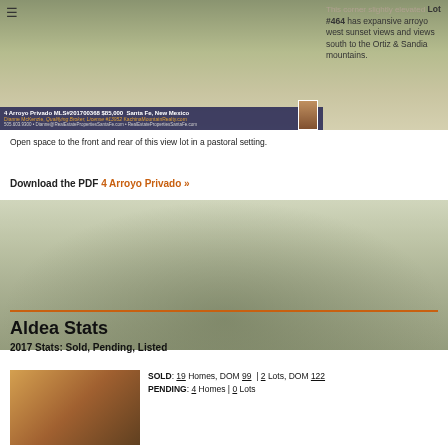[Figure (photo): Aerial/landscape photo of 4 Arroyo Privado property with listing banner showing MLS#201700368 $85,000 Santa Fe, New Mexico, Dianne McKenzie Qualifying Broker]
This corner slightly elevated Lot #464 has expansive arroyo west sunset views and views south to the Ortiz & Sandia mountains. Open space to the front and rear of this view lot in a pastoral setting.
Download the PDF 4 Arroyo Privado »
[Figure (photo): Background landscape photo of Aldea area with mountains and open land]
Aldea Stats
2017 Stats: Sold, Pending, Listed
[Figure (photo): Bottom left photo showing property or area landscape in warm tones]
SOLD: 19 Homes, DOM 99  | 2 Lots, DOM 122
PENDING: 4 Homes | 0 Lots